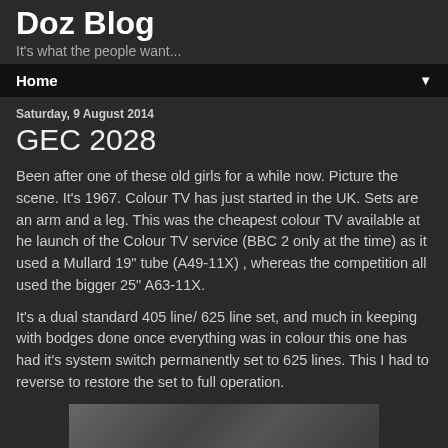Doz Blog
It's what the people want...
Home
Saturday, 9 August 2014
GEC 2028
Been after one of these old girls for a while now. Picture the scene. It's 1967. Colour TV has just started in the UK. Sets are an arm and a leg. This was the cheapest colour TV available at he launch of the Colour TV service (BBC 2 only at the time) as it used a Mullard 19" tube (A49-11X) , whereas the competition all used the bigger 25" A63-11X.
It's a dual standard 405 line/ 625 line set, and much in keeping with bodges done once everything was in colour this one has had it's system switch permanently set to 625 lines. This I had to reverse to restore the set to full operation.
[Figure (photo): Partial photo of the GEC 2028 television set]